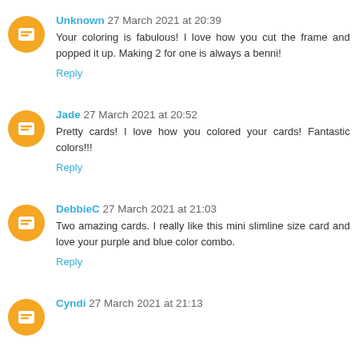Unknown 27 March 2021 at 20:39
Your coloring is fabulous! I love how you cut the frame and popped it up. Making 2 for one is always a benni!
Reply
Jade 27 March 2021 at 20:52
Pretty cards! I love how you colored your cards! Fantastic colors!!!
Reply
DebbieC 27 March 2021 at 21:03
Two amazing cards. I really like this mini slimline size card and love your purple and blue color combo.
Reply
Cyndi 27 March 2021 at 21:13